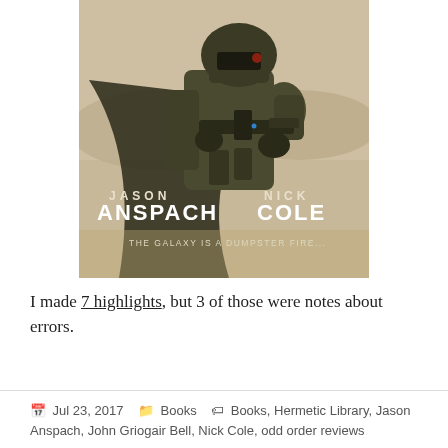[Figure (illustration): Book cover illustration showing a sci-fi armored soldier in a desert landscape holding a rifle. Text on cover reads: JASON ANSPACH, NICK COLE, THE GALAXY IS A DUMPSTER FIRE...]
I made 7 highlights, but 3 of those were notes about errors.
Jul 23, 2017   Books   Books, Hermetic Library, Jason Anspach, John Griogair Bell, Nick Cole, odd order reviews